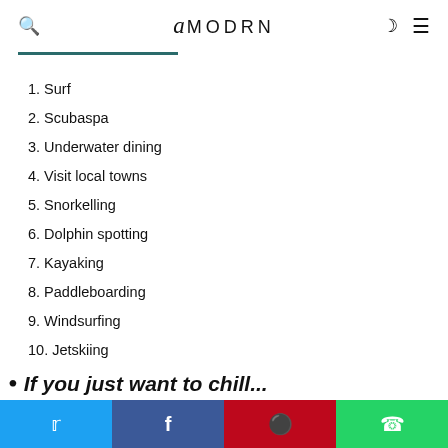amodrn
1. Surf
2. Scubaspa
3. Underwater dining
4. Visit local towns
5. Snorkelling
6. Dolphin spotting
7. Kayaking
8. Paddleboarding
9. Windsurfing
10. Jetskiing
• If you just want to chill...